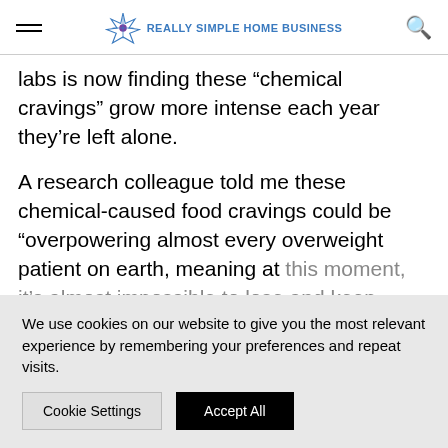Really Simple Home Business
labs is now finding these “chemical cravings” grow more intense each year they’re left alone.
A research colleague told me these chemical-caused food cravings could be “overpowering almost every overweight patient on earth, meaning at this moment, it’s almost impossible to lose and keep
We use cookies on our website to give you the most relevant experience by remembering your preferences and repeat visits.